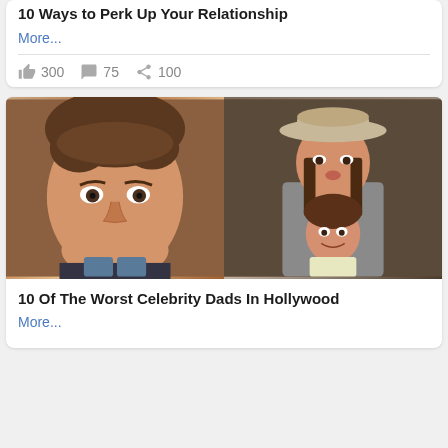10 Ways to Perk Up Your Relationship
More...
300  75  100
[Figure (photo): Two celebrity photos side by side: a close-up of a smiling man with brown hair on the left, and a woman wearing a wide-brim beige hat with a young girl on the right]
10 Of The Worst Celebrity Dads In Hollywood
More...